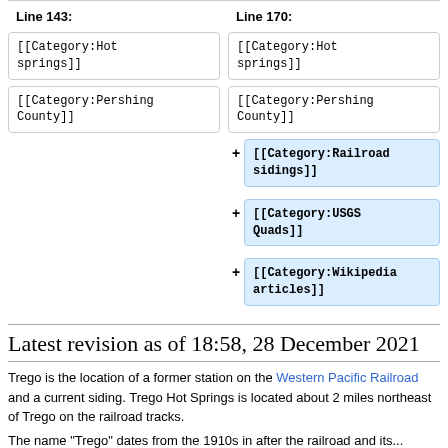Line 143:
Line 170:
[[Category:Hot springs]]
[[Category:Hot springs]]
[[Category:Pershing County]]
[[Category:Pershing County]]
[[Category:Railroad sidings]]
[[Category:USGS Quads]]
[[Category:Wikipedia articles]]
Latest revision as of 18:58, 28 December 2021
Trego is the location of a former station on the Western Pacific Railroad and a current siding. Trego Hot Springs is located about 2 miles northeast of Trego on the railroad tracks.
The name "Trego" dates from the 1910s in after the railroad and its...